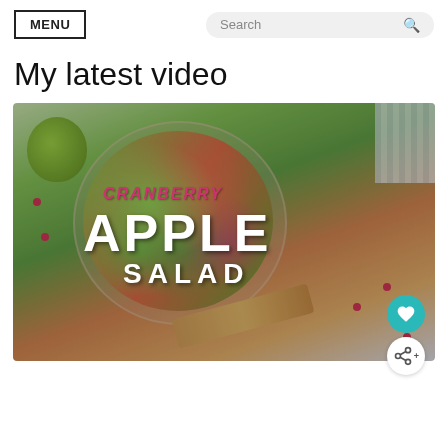MENU | Search
My latest video
[Figure (photo): Video thumbnail of a Cranberry Apple Salad recipe. Shows a bowl of colorful salad with green apples, cranberries, and mixed greens viewed from above, with a wooden spoon. Text overlay reads: CRANBERRY APPLE SALAD. Heart and share buttons visible.]